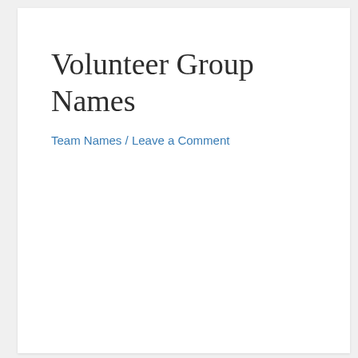Volunteer Group Names
Team Names / Leave a Comment